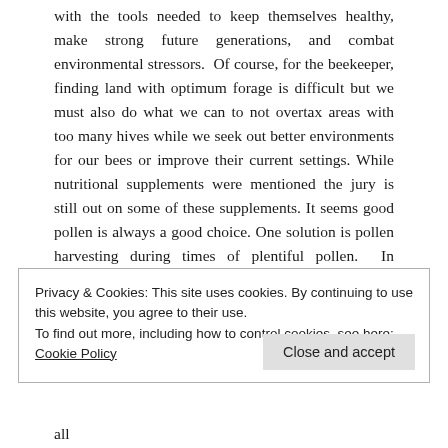with the tools needed to keep themselves healthy, make strong future generations, and combat environmental stressors.  Of course, for the beekeeper, finding land with optimum forage is difficult but we must also do what we can to not overtax areas with too many hives while we seek out better environments for our bees or improve their current settings. While nutritional supplements were mentioned the jury is still out on some of these supplements. It seems good pollen is always a good choice. One solution is pollen harvesting during times of plentiful pollen.  In response to the
Privacy & Cookies: This site uses cookies. By continuing to use this website, you agree to their use.
To find out more, including how to control cookies, see here: Cookie Policy
Close and accept
all